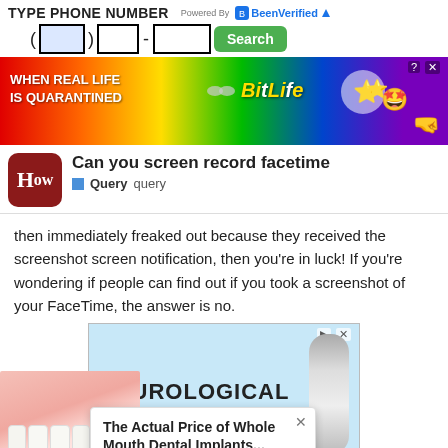[Figure (screenshot): Phone number search bar with area code input, middle number input, last four digits input, and green Search button. Powered by BeenVerified logo top right.]
[Figure (screenshot): BitLife advertisement banner with rainbow background: 'WHEN REAL LIFE IS QUARANTINED' with BitLife logo and emoji characters.]
[Figure (screenshot): How.com logo (brown rounded rectangle with 'How' text) with title 'Can you screen record facetime' and 'Query query' subtitle with blue square icon.]
then immediately freaked out because they received the screenshot screen notification, then you're in luck! If you're wondering if people can find out if you took a screenshot of your FaceTime, the answer is no.
[Figure (screenshot): Advertisement area with light blue background showing 'NEUROLOGICAL' text, a toothbrush/dental product, and a popup ad reading 'The Actual Price of Whole Mouth Dental Implants...' from Dental | Sponsored. A teeth/mouth image visible on the left side.]
[Figure (screenshot): BitLife bottom advertisement banner on black background: 'NOW WITH GOD MODE' with yellow BitLife logo and lightning/hand emojis. Blue 'ntents' button on right edge (Table of Contents).]